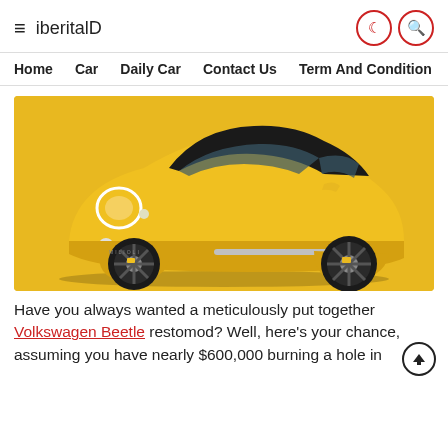iberitalD
Home   Car   Daily Car   Contact Us   Term And Condition
[Figure (photo): Yellow Volkswagen Beetle restomod concept car on a yellow background, shown in three-quarter front view with large dark alloy wheels and modern styling.]
Have you always wanted a meticulously put together Volkswagen Beetle restomod? Well, here’s your chance, assuming you have nearly $600,000 burning a hole in